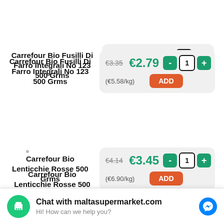Carrefour Bio Fusilli Di Farro Integrali No 123 500 Grms — €3.35 €2.79 (€5.58/kg)
Carrefour Bio Lenticchie Rosse 500 Grms — €4.14 €3.45 (€6.90/kg)
Carrefour Bio Milk — €1.38 €1.15
Chat with maltasupermarket.com — Hi! How can we help you?